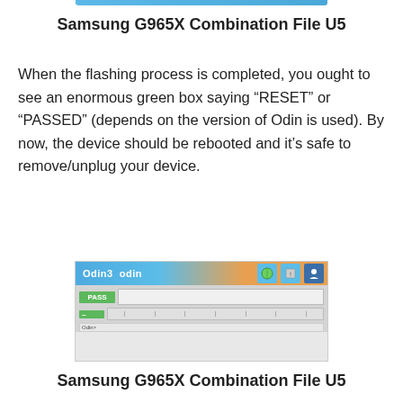Samsung G965X Combination File U5
When the flashing process is completed, you ought to see an enormous green box saying “RESET” or “PASSED” (depends on the version of Odin is used). By now, the device should be rebooted and it’s safe to remove/unplug your device.
[Figure (screenshot): Screenshot of Odin3 flashing tool showing a green PASS label in the status area and a progress bar row, indicating successful flashing completion.]
Samsung G965X Combination File U5
Flash succeeded.